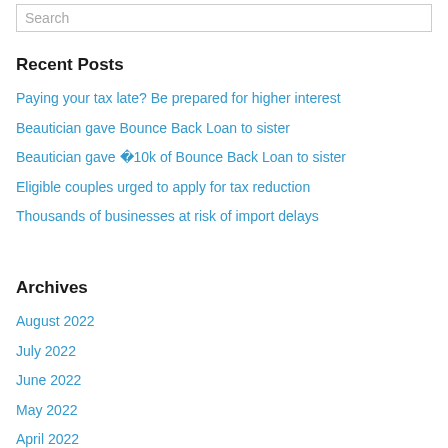Search
Recent Posts
Paying your tax late? Be prepared for higher interest
Beautician gave Bounce Back Loan to sister
Beautician gave �10k of Bounce Back Loan to sister
Eligible couples urged to apply for tax reduction
Thousands of businesses at risk of import delays
Archives
August 2022
July 2022
June 2022
May 2022
April 2022
March 2022